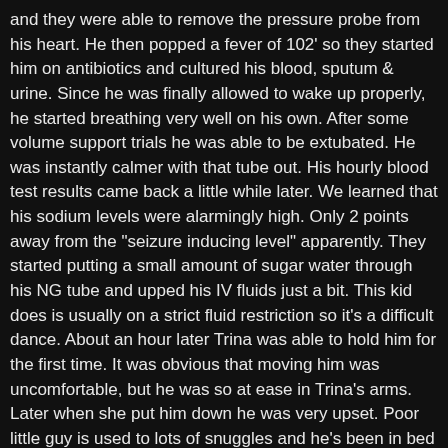and they were able to remove the pressure probe from his heart. He then popped a fever of 102' so they started him on antibiotics and cultured his blood, sputum & urine. Since he was finally allowed to wake up properly, he started breathing very well on his own. After some volume support trials he was able to be extubated. He was instantly calmer with that tube out. His hourly blood test results came back a little while later. We learned that his sodium levels were alarmingly high. Only 2 points away from the "seizure inducing level" apparently. They started putting a small amount of sugar water through his NG tube and upped his IV fluids just a bit. This kid does is usually on a strict fluid restriction so it's a difficult dance. About an hour later Trina was able to hold him for the first time. It was obvious that moving him was uncomfortable, but he was so at ease in Trina's arms. Later when she put him down he was very upset. Poor little guy is used to lots of snuggles and he's been in bed for the majority of the last 4 days. Last night he blew his arterial line after having it in a solid 3 days. That's not bad for him. Luckily they still have a central line they can use for blood draws and such.